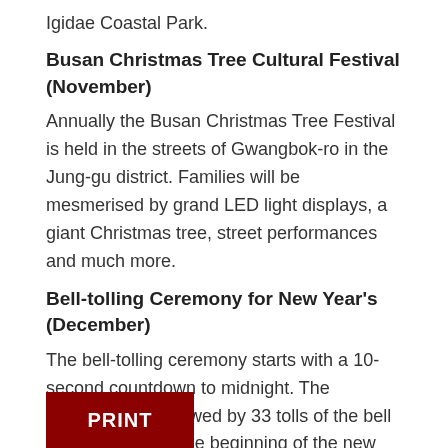Igidae Coastal Park.
Busan Christmas Tree Cultural Festival (November)
Annually the Busan Christmas Tree Festival is held in the streets of Gwangbok-ro in the Jung-gu district. Families will be mesmerised by grand LED light displays, a giant Christmas tree, street performances and much more.
Bell-tolling Ceremony for New Year's (December)
The bell-tolling ceremony starts with a 10-second countdown to midnight. The countdown is followed by 33 tolls of the bell to officially mark the beginning of the new year. The event takes place at Yongdusan Park and expats can enjoy hot tea and eomuk (traditional fish cakes) to keep warm. Celebratory performances and fireworks end off the event.
[Figure (other): Red PRINT button]